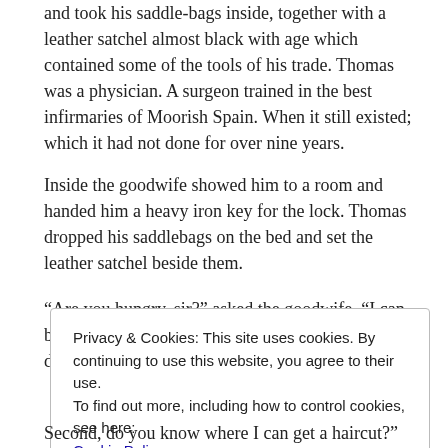and took his saddle-bags inside, together with a leather satchel almost black with age which contained some of the tools of his trade. Thomas was a physician. A surgeon trained in the best infirmaries of Moorish Spain. When it still existed; which it had not done for over nine years.
Inside the goodwife showed him to a room and handed him a heavy iron key for the lock. Thomas dropped his saddlebags on the bed and set the leather satchel beside them.
“Are you hungry, sir?” asked the goodwife. “I can bring food to your room, or there is a fine table set downstairs. Four pence either way.”
Privacy & Cookies: This site uses cookies. By continuing to use this website, you agree to their use.
To find out more, including how to control cookies, see here: Cookie Policy
Second, do you know where I can get a haircut?"